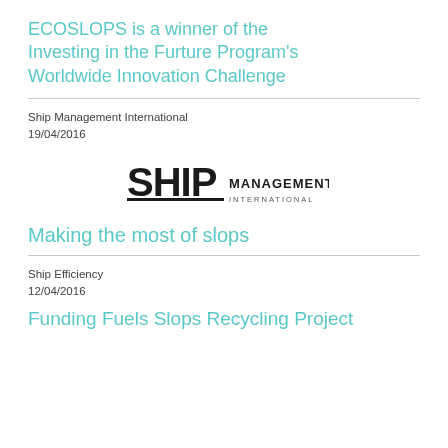ECOSLOPS is a winner of the Investing in the Furture Program's Worldwide Innovation Challenge
Ship Management International
19/04/2016
[Figure (logo): Ship Management International logo in bold black text]
Making the most of slops
Ship Efficiency
12/04/2016
Funding Fuels Slops Recycling Project